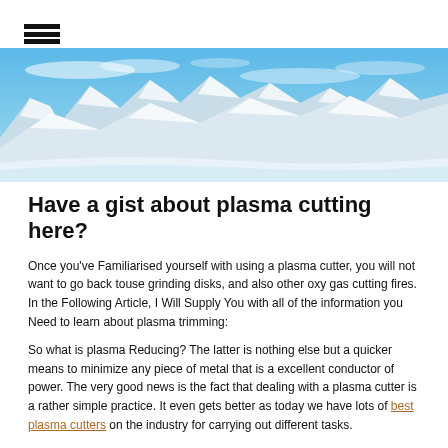☰
[Figure (photo): Panoramic photo of snow-capped mountains under a bright blue sky with light clouds]
Have a gist about plasma cutting here?
Once you've Familiarised yourself with using a plasma cutter, you will not want to go back touse grinding disks, and also other oxy gas cutting fires. In the Following Article, I Will Supply You with all of the information you Need to learn about plasma trimming:
So what is plasma Reducing? The latter is nothing else but a quicker means to minimize any piece of metal that is a excellent conductor of power. The very good news is the fact that dealing with a plasma cutter is a rather simple practice. It even gets better as today we have lots of best plasma cutters on the industry for carrying out different tasks.
The best way Does a plasma cutter performs?